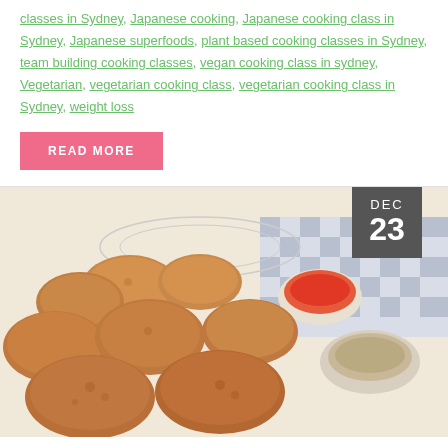classes in Sydney, Japanese cooking, Japanese cooking class in Sydney, Japanese superfoods, plant based cooking classes in Sydney, team building cooking classes, vegan cooking class in sydney, Vegetarian, vegetarian cooking class, vegetarian cooking class in Sydney, weight loss
READ MORE
[Figure (photo): Photo of fried chicken nuggets or karaage pieces piled together with small bowls of dipping sauces (red chili sauce and a beige/tan sauce), with a checkered cloth in the background. Date badge shows DEC 23 in dark gray.]